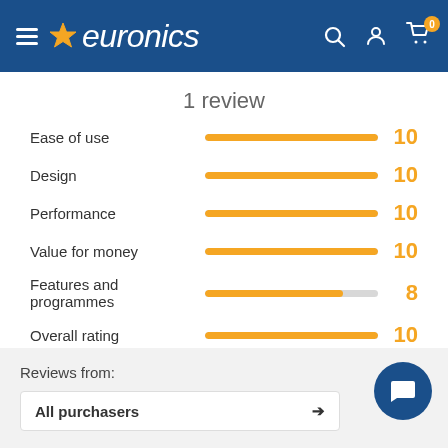[Figure (screenshot): Euronics website header with hamburger menu, star logo, search icon, user icon, and cart icon with badge showing 0]
1 review
[Figure (bar-chart): Product ratings]
Reviews from:
All purchasers